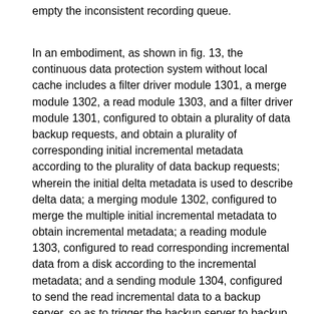empty the inconsistent recording queue.
In an embodiment, as shown in fig. 13, the continuous data protection system without local cache includes a filter driver module 1301, a merge module 1302, a read module 1303, and a filter driver module 1301, configured to obtain a plurality of data backup requests, and obtain a plurality of corresponding initial incremental metadata according to the plurality of data backup requests; wherein the initial delta metadata is used to describe delta data; a merging module 1302, configured to merge the multiple initial incremental metadata to obtain incremental metadata; a reading module 1303, configured to read corresponding incremental data from a disk according to the incremental metadata; and a sending module 1304, configured to send the read incremental data to a backup server, so as to trigger the backup server to backup the incremental data. In this embodiment, the initial incremental metadata corresponding to the multiple data backup requests are merged to obtain the incremental metadata, and the corresponding incremental data is read according to the incremental metadata obtained by merging and sent to the backup server for backup, so that the efficiency of real